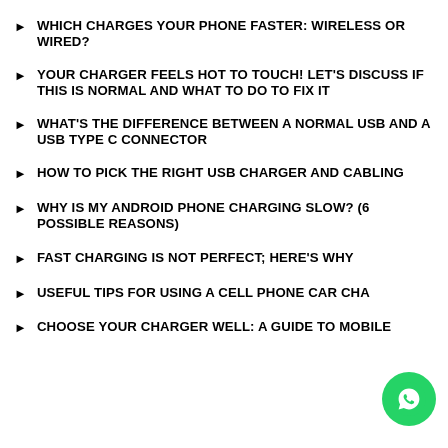WHICH CHARGES YOUR PHONE FASTER: WIRELESS OR WIRED?
YOUR CHARGER FEELS HOT TO TOUCH! LET'S DISCUSS IF THIS IS NORMAL AND WHAT TO DO TO FIX IT
WHAT'S THE DIFFERENCE BETWEEN A NORMAL USB AND A USB TYPE C CONNECTOR
HOW TO PICK THE RIGHT USB CHARGER AND CABLING
WHY IS MY ANDROID PHONE CHARGING SLOW? (6 POSSIBLE REASONS)
FAST CHARGING IS NOT PERFECT; HERE'S WHY
USEFUL TIPS FOR USING A CELL PHONE CAR CHA…
CHOOSE YOUR CHARGER WELL: A GUIDE TO MOBILE…